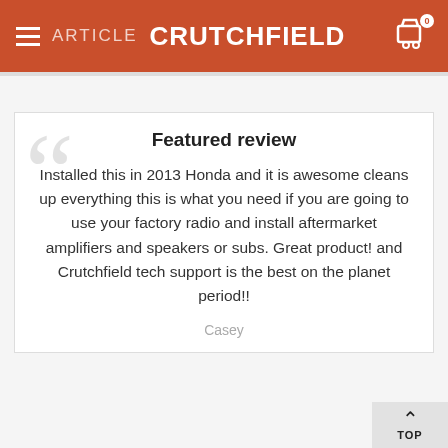ARTICLE CRUTCHFIELD
Featured review
Installed this in 2013 Honda and it is awesome cleans up everything this is what you need if you are going to use your factory radio and install aftermarket amplifiers and speakers or subs. Great product! and Crutchfield tech support is the best on the planet period!!
Casey